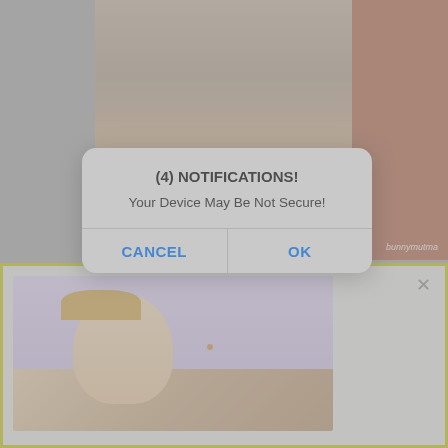[Figure (screenshot): Mobile browser screenshot showing a dimmed background with an iOS-style notification dialog overlay and a pop-up banner at the bottom. The dialog reads '(4) NOTIFICATIONS!' and 'Your Device May Be Not Secure!' with CANCEL and OK buttons. A yellow-bordered popup banner appears at the bottom with a thumbnail image.]
(4) NOTIFICATIONS!
Your Device May Be Not Secure!
CANCEL
OK